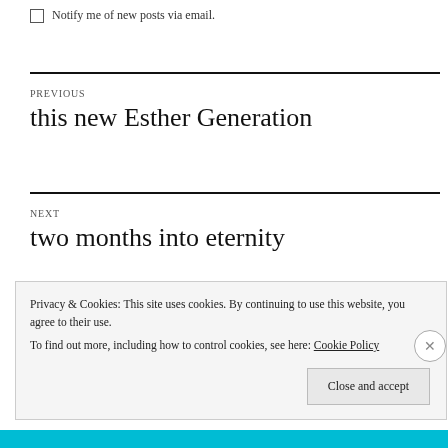Notify me of new posts via email.
PREVIOUS
this new Esther Generation
NEXT
two months into eternity
Privacy & Cookies: This site uses cookies. By continuing to use this website, you agree to their use.
To find out more, including how to control cookies, see here: Cookie Policy
Close and accept